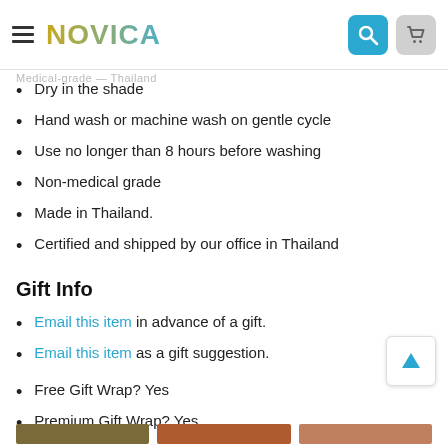NOVICA
Dry in the shade
Hand wash or machine wash on gentle cycle
Use no longer than 8 hours before washing
Non-medical grade
Made in Thailand.
Certified and shipped by our office in Thailand
Gift Info
Email this item in advance of a gift.
Email this item as a gift suggestion.
Free Gift Wrap? Yes
Premium Gift Wrap? Yes
Related Items